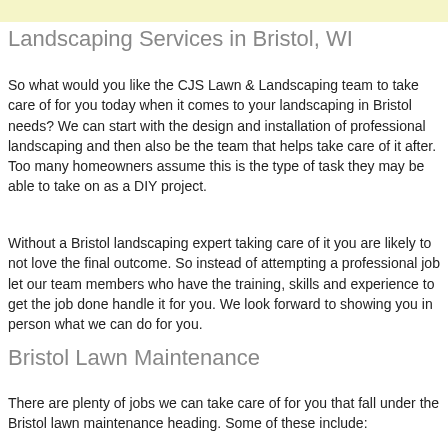Landscaping Services in Bristol, WI
So what would you like the CJS Lawn & Landscaping team to take care of for you today when it comes to your landscaping in Bristol needs? We can start with the design and installation of professional landscaping and then also be the team that helps take care of it after. Too many homeowners assume this is the type of task they may be able to take on as a DIY project.
Without a Bristol landscaping expert taking care of it you are likely to not love the final outcome. So instead of attempting a professional job let our team members who have the training, skills and experience to get the job done handle it for you. We look forward to showing you in person what we can do for you.
Bristol Lawn Maintenance
There are plenty of jobs we can take care of for you that fall under the Bristol lawn maintenance heading. Some of these include: